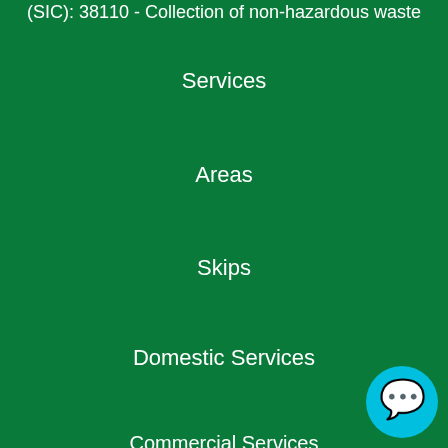(SIC): 38110 - Collection of non-hazardous waste
Services
Areas
Skips
Domestic Services
Commercial Services
About
Prices
Contact
Recommended Companies
Fly Tipping
Legal Waste
[Figure (illustration): Chat bubble icon (cyan circle with speech bubble symbol)]